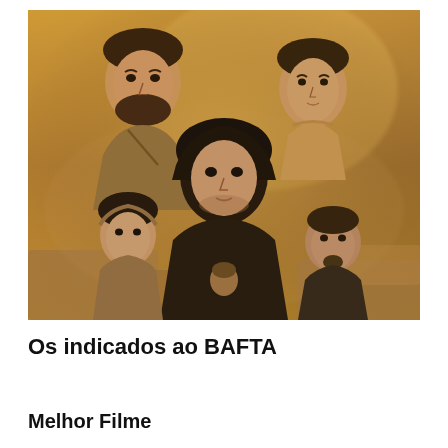[Figure (photo): Movie poster for Dune featuring several cast members including a bearded man (top left), a young man (top right), a woman with black hair and hood in the center, a younger woman (bottom left), a man with goatee (bottom right), all set against a sandy, dusty desert background with golden/amber tones.]
Os indicados ao BAFTA
Melhor Filme